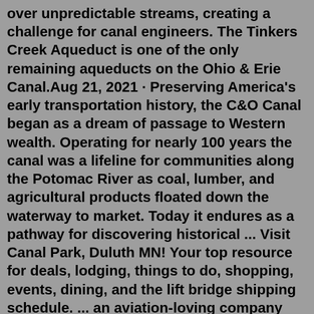over unpredictable streams, creating a challenge for canal engineers. The Tinkers Creek Aqueduct is one of the only remaining aqueducts on the Ohio & Erie Canal.Aug 21, 2021 · Preserving America's early transportation history, the C&O Canal began as a dream of passage to Western wealth. Operating for nearly 100 years the canal was a lifeline for communities along the Potomac River as coal, lumber, and agricultural products floated down the waterway to market. Today it endures as a pathway for discovering historical ... Visit Canal Park, Duluth MN! Your top resource for deals, lodging, things to do, shopping, events, dining, and the lift bridge shipping schedule. ... an aviation-loving company that wants to share its love of flying while giving you a multi-dimensional view of Duluth Harbor and some of its beautiful attractions. You've Seen It By Land, Now ...Call (570) 253-3240 for further information. The park is open dawn to dusk. The Delaware & Hudson Canal is a 108-mile-long civil engineering